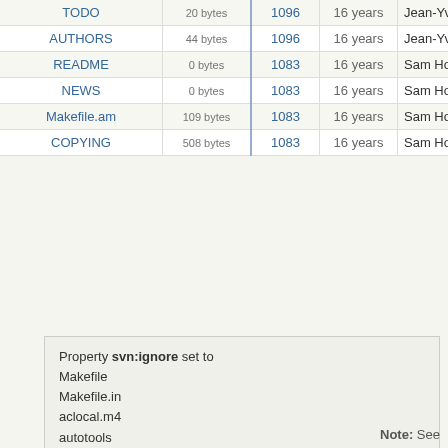| Name | Size | Rev | Age | Author | Message |
| --- | --- | --- | --- | --- | --- |
| TODO | 20 bytes | 1096 | 16 years | Jean-Yves Lamoureux | * R |
| AUTHORS | 44 bytes | 1096 | 16 years | Jean-Yves Lamoureux | * R |
| README | 0 bytes | 1083 | 16 years | Sam Hocevar | * In |
| NEWS | 0 bytes | 1083 | 16 years | Sam Hocevar | * In |
| Makefile.am | 109 bytes | 1083 | 16 years | Sam Hocevar | * In |
| COPYING | 508 bytes | 1083 | 16 years | Sam Hocevar | * In |
Property svn:ignore set to
Makefile
Makefile.in
aclocal.m4
autotools
config.h
config.h.in
config.log
config.status
configure
stamp-*
[Figure (screenshot): A rounded rectangle button/thumbnail with brownish-purple background color and 'View changes...' text label at the bottom]
Note: See